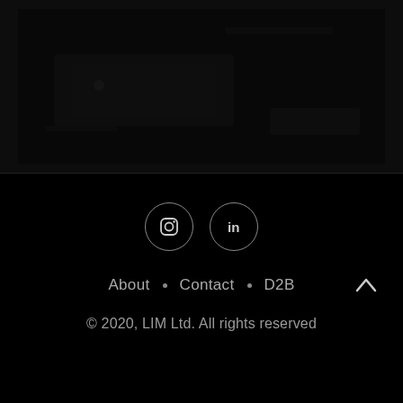[Figure (photo): Dark/nearly black photograph filling the top portion of the page]
[Figure (other): Social media icons: Instagram (circle with camera icon) and LinkedIn (circle with 'in' text)]
About • Contact • D2B
© 2020, LIM Ltd. All rights reserved